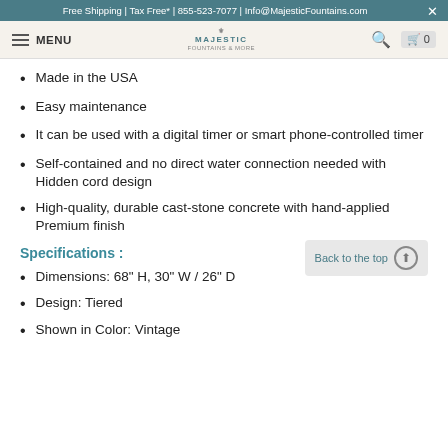Free Shipping | Tax Free* | 855-523-7077 | Info@MajesticFountains.com
MENU | MAJESTIC FOUNTAINS
Made in the USA
Easy maintenance
It can be used with a digital timer or smart phone-controlled timer
Self-contained and no direct water connection needed with Hidden cord design
High-quality, durable cast-stone concrete with hand-applied Premium finish
Specifications :
Dimensions: 68" H, 30" W / 26" D
Design: Tiered
Shown in Color: Vintage